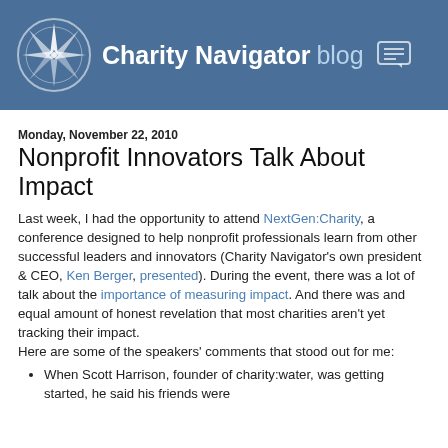Charity Navigator blog
Monday, November 22, 2010
Nonprofit Innovators Talk About Impact
Last week, I had the opportunity to attend NextGen:Charity, a conference designed to help nonprofit professionals learn from other successful leaders and innovators (Charity Navigator's own president & CEO, Ken Berger, presented). During the event, there was a lot of talk about the importance of measuring impact. And there was and equal amount of honest revelation that most charities aren't yet tracking their impact.
Here are some of the speakers' comments that stood out for me:
When Scott Harrison, founder of charity:water, was getting started, he said his friends were